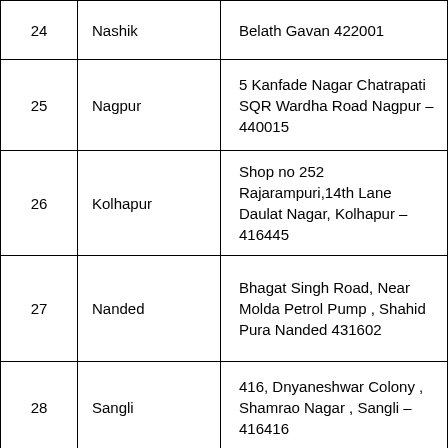| No. | City | Address |
| --- | --- | --- |
| 24 | Nashik | Belath Gavan 422001 |
| 25 | Nagpur | 5 Kanfade Nagar Chatrapati SQR Wardha Road Nagpur – 440015 |
| 26 | Kolhapur | Shop no 252 Rajarampuri,14th Lane Daulat Nagar, Kolhapur – 416445 |
| 27 | Nanded | Bhagat Singh Road, Near Molda Petrol Pump , Shahid Pura Nanded 431602 |
| 28 | Sangli | 416, Dnyaneshwar Colony , Shamrao Nagar , Sangli – 416416 |
| 29 | Satara | 281, Ravivarpet Marketyard Satara, Near Prakash Lodge 415001 |
| 30 | Baramati | Virseva Mangal Karyalay, Near Narjye Building, Bhinywan MIDC |